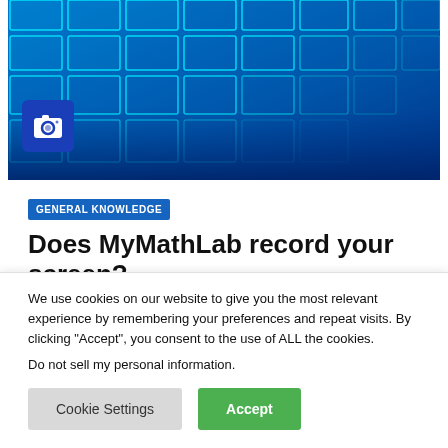[Figure (photo): Abstract blue glowing grid/tile pattern with neon cyan edges, technology background. Camera icon overlay in bottom-left corner.]
GENERAL KNOWLEDGE
Does MyMathLab record your screen?
We use cookies on our website to give you the most relevant experience by remembering your preferences and repeat visits. By clicking “Accept”, you consent to the use of ALL the cookies.
Do not sell my personal information.